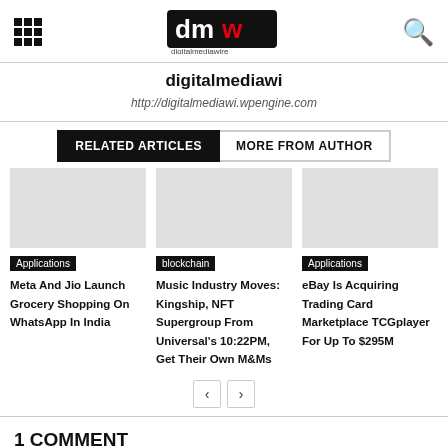digitalmediawi — http://digitalmediawi.wpengine.com
digitalmediawi
http://digitalmediawi.wpengine.com
RELATED ARTICLES | MORE FROM AUTHOR
[Figure (screenshot): Article card image placeholder for Meta And Jio Launch Grocery Shopping On WhatsApp In India]
Applications
Meta And Jio Launch Grocery Shopping On WhatsApp In India
[Figure (screenshot): Article card image placeholder for Music Industry Moves: Kingship, NFT Supergroup From Universal's 10:22PM, Get Their Own M&Ms]
blockchain
Music Industry Moves: Kingship, NFT Supergroup From Universal's 10:22PM, Get Their Own M&Ms
[Figure (screenshot): Article card image placeholder for eBay Is Acquiring Trading Card Marketplace TCGplayer For Up To $295M]
Applications
eBay Is Acquiring Trading Card Marketplace TCGplayer For Up To $295M
1 COMMENT